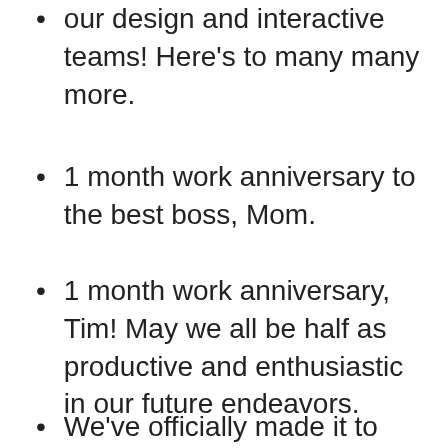Happy one month work anniversary to our design and interactive teams! Here’s to many many more.
1 month work anniversary to the best boss, Mom.
1 month work anniversary, Tim! May we all be half as productive and enthusiastic in our future endeavors.
We’ve officially made it to our one-